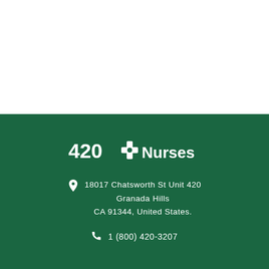[Figure (logo): 420Nurses logo with white cross symbol and text on dark green background]
18017 Chatsworth St Unit 420
Granada Hills
CA 91344, United States.
1 (800) 420-3207